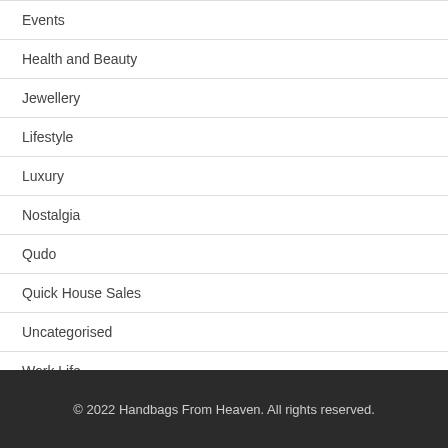Events
Health and Beauty
Jewellery
Lifestyle
Luxury
Nostalgia
Qudo
Quick House Sales
Uncategorised
Work Life
© 2022 Handbags From Heaven. All rights reserved.